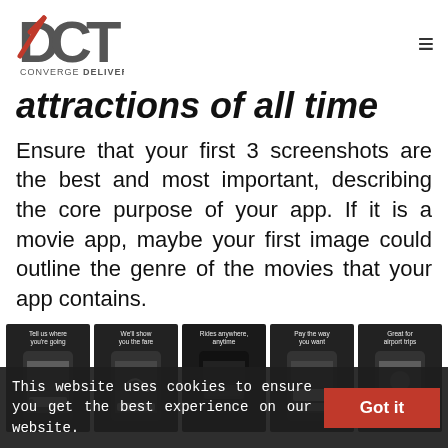[Figure (logo): DCT Converge Deliver logo with red checkmark and hamburger menu icon]
attractions of all time
Ensure that your first 3 screenshots are the best and most important, describing the core purpose of your app. If it is a movie app, maybe your first image could outline the genre of the movies that your app contains.
[Figure (screenshot): Five app screenshots showing: Tell us where you're going, We'll show you the fare, Rides anywhere anytime, Pay the way you want, Great for airport trips]
This website uses cookies to ensure you get the best experience on our website.